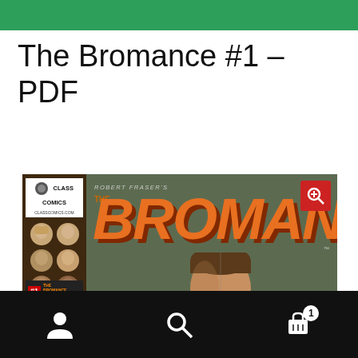The Bromance #1 – PDF
[Figure (illustration): Comic book cover for 'The Bromance #1' by Robert Fraser. Left spine shows Class Comics logo, character face portraits, issue number badge, and 'CLASS ACCESS' label. Main cover shows large orange italic BROMANCE logo on dark olive/green background with a man's face at bottom center. Red zoom magnifier button in top right corner.]
Navigation bar with person icon, search icon, and cart icon with badge showing 1